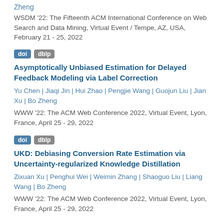Zheng
WSDM '22: The Fifteenth ACM International Conference on Web Search and Data Mining, Virtual Event / Tempe, AZ, USA, February 21 - 25, 2022
doi  dblp
Asymptotically Unbiased Estimation for Delayed Feedback Modeling via Label Correction
Yu Chen | Jiaqi Jin | Hui Zhao | Pengjie Wang | Guojun Liu | Jian Xu | Bo Zheng
WWW '22: The ACM Web Conference 2022, Virtual Event, Lyon, France, April 25 - 29, 2022
doi  dblp
UKD: Debiasing Conversion Rate Estimation via Uncertainty-regularized Knowledge Distillation
Zixuan Xu | Penghui Wei | Weimin Zhang | Shaoguo Liu | Liang Wang | Bo Zheng
WWW '22: The ACM Web Conference 2022, Virtual Event, Lyon, France, April 25 - 29, 2022